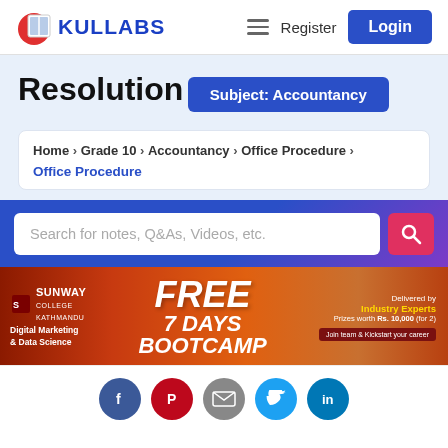[Figure (logo): Kullabs logo with book icon and blue text]
Register
Login
Resolution
Subject: Accountancy
Home > Grade 10 > Accountancy > Office Procedure > Office Procedure
[Figure (screenshot): Search bar with placeholder 'Search for notes, Q&As, Videos, etc.' and red search button]
[Figure (infographic): Sunway College Kathmandu advertisement banner: FREE 7 DAYS BOOTCAMP, Digital Marketing & Data Science, Industry Experts, Rs. 10,000 prizes]
[Figure (infographic): Social media icons: Facebook, Pinterest, Email, Twitter, LinkedIn]